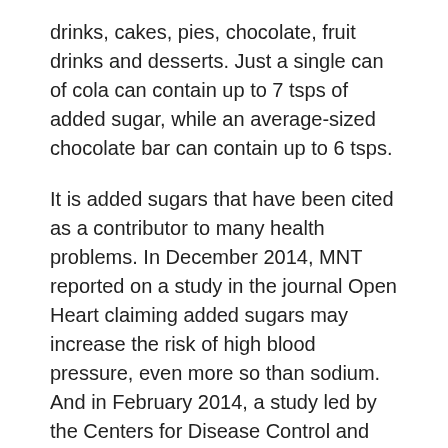drinks, cakes, pies, chocolate, fruit drinks and desserts. Just a single can of cola can contain up to 7 tsps of added sugar, while an average-sized chocolate bar can contain up to 6 tsps.
It is added sugars that have been cited as a contributor to many health problems. In December 2014, MNT reported on a study in the journal Open Heart claiming added sugars may increase the risk of high blood pressure, even more so than sodium. And in February 2014, a study led by the Centers for Disease Control and Prevention (CDC) associated high added sugar intake with increased risk of death from cardiovascular disease (CVD).
"PERHAPS MOST STRONGLY, ADDED SUGARS HAVE BEEN ASSOCIATED WITH THE SIGNIFICANT INCREASE IN